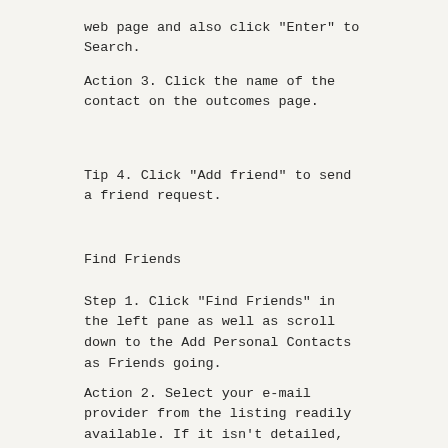web page and also click "Enter" to Search.
Action 3. Click the name of the contact on the outcomes page.
Tip 4. Click "Add friend" to send a friend request.
Find Friends
Step 1. Click "Find Friends" in the left pane as well as scroll down to the Add Personal Contacts as Friends going.
Action 2. Select your e-mail provider from the listing readily available. If it isn't detailed, click "Other Email Service"